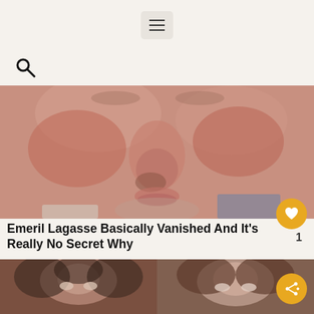hamburger menu icon
[Figure (screenshot): Search icon (magnifying glass) on beige/cream background]
[Figure (photo): Close-up photo of Emeril Lagasse's face, showing his nose, lips, and cheeks with reddish skin tone]
Emeril Lagasse Basically Vanished And It's Really No Secret Why
[Figure (photo): Two side-by-side photos of women's faces, bottom row of article thumbnails]